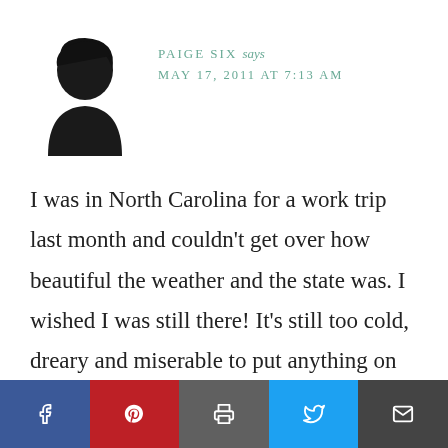[Figure (illustration): Silhouette avatar of a female figure with dark hair, facing slightly right]
PAIGE SIX says
MAY 17, 2011 AT 7:13 AM
I was in North Carolina for a work trip last month and couldn’t get over how beautiful the weather and the state was. I wished I was still there! It’s still too cold, dreary and miserable to put anything on the clothesline where I’m at!